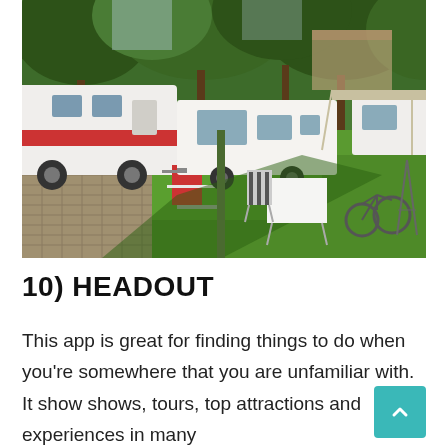[Figure (photo): Outdoor campsite scene with multiple motorhomes and caravans parked on grass under large trees. Outdoor furniture including chairs and a table with white tablecloth visible in the foreground. Brick paving area on the left side.]
10) HEADOUT
This app is great for finding things to do when you're somewhere that you are unfamiliar with. It shows, tours, top attractions and experiences in many